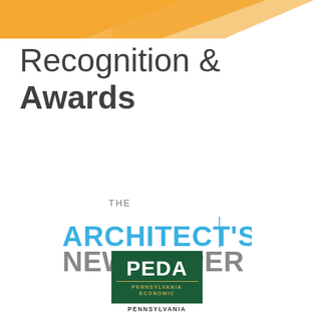[Figure (illustration): Orange/gold geometric triangle decoration at top of page]
Recognition & Awards
[Figure (logo): The Architect's Newspaper logo with blue ARCHITECT'S text and gray NEWSPAPER text]
[Figure (logo): PEDA - Pennsylvania Economic Development Association logo, green box with gold lettering]